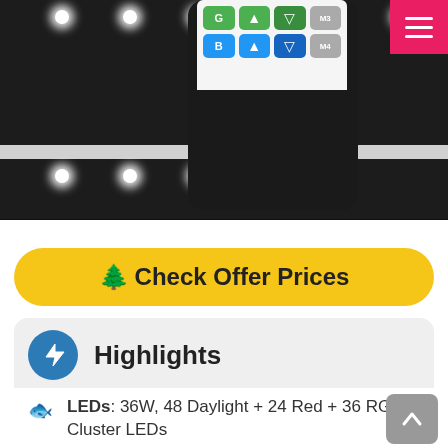[Figure (photo): LED strip lighting with remote control shown against dark background. The remote is a black device with colored buttons (green, blue) and a white display area. Top right has a pink/red hamburger menu button.]
🌲 Check Offer Prices
⚡ Highlights
LEDs: 36W, 48 Daylight + 24 Red + 36 RGB Cluster LEDs
Modes: Automatic 24/7 Lighting Cycle,